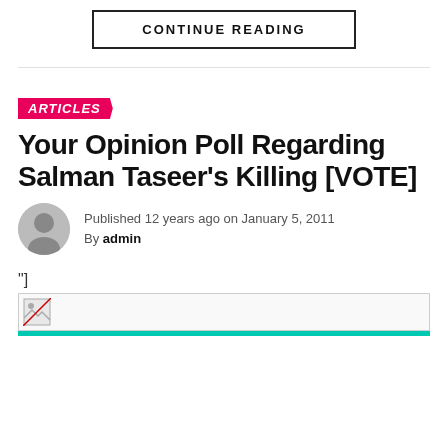CONTINUE READING
ARTICLES
Your Opinion Poll Regarding Salman Taseer's Killing [VOTE]
Published 12 years ago on January 5, 2011
By admin
"]
[Figure (illustration): Broken image placeholder icon with teal progress bar beneath]